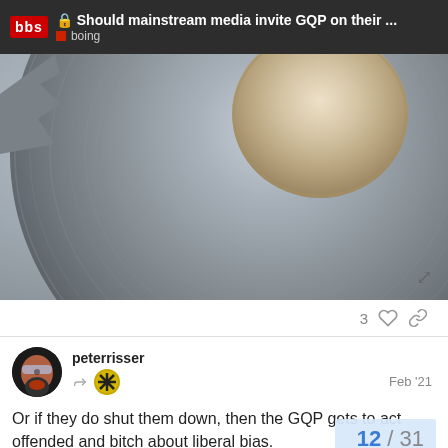Should mainstream media invite GQP on their ... | boing
[Figure (photo): Close-up photo of a roll of grey duct tape on a white background]
3
peterrisser  Feb '21
Or if they do shut them down, then the GQP gets to act offended and bitch about liberal bias.
12 / 31